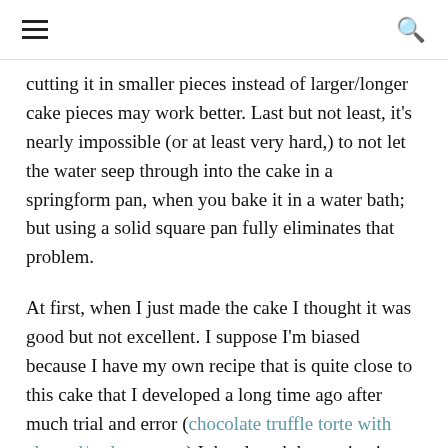☰  🔍
cutting it in smaller pieces instead of larger/longer cake pieces may work better. Last but not least, it's nearly impossible (or at least very hard,) to not let the water seep through into the cake in a springform pan, when you bake it in a water bath; but using a solid square pan fully eliminates that problem.
At first, when I just made the cake I thought it was good but not excellent. I suppose I'm biased because I have my own recipe that is quite close to this cake that I developed a long time ago after much trial and error (chocolate truffle torte with almond/walnut crust.) I developed that recipe in accordance to my personal taste, so I tend to prefer it. But cooking this much for so